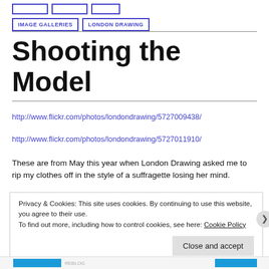IMAGE GALLERIES   LONDON DRAWING
Shooting the Model
http://www.flickr.com/photos/londondrawing/5727009438/
http://www.flickr.com/photos/londondrawing/5727011910/
These are from May this year when London Drawing asked me to rip my clothes off in the style of a suffragette losing her mind.
Privacy & Cookies: This site uses cookies. By continuing to use this website, you agree to their use.
To find out more, including how to control cookies, see here: Cookie Policy
Close and accept